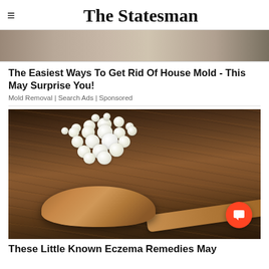The Statesman
[Figure (photo): Partial view of a house mold removal related image — wooden surface with mold/dark patches, cropped at top]
The Easiest Ways To Get Rid Of House Mold - This May Surprise You!
Mold Removal | Search Ads | Sponsored
[Figure (photo): Kefir grains on a wooden spoon placed on a rustic wooden surface — white lumpy fermented milk culture]
These Little Known Eczema Remedies May